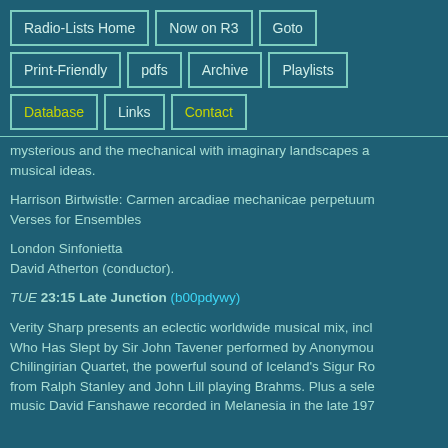Radio-Lists Home | Now on R3 | Goto | Print-Friendly | pdfs | Archive | Playlists | Database | Links | Contact
mysterious and the mechanical with imaginary landscapes and musical ideas.
Harrison Birtwistle: Carmen arcadiae mechanicae perpetuum
Verses for Ensembles
London Sinfonietta
David Atherton (conductor).
TUE 23:15 Late Junction (b00pdywy)
Verity Sharp presents an eclectic worldwide musical mix, incl Who Has Slept by Sir John Tavener performed by Anonymous Chilingirian Quartet, the powerful sound of Iceland's Sigur Ro from Ralph Stanley and John Lill playing Brahms. Plus a sele music David Fanshawe recorded in Melanesia in the late 197